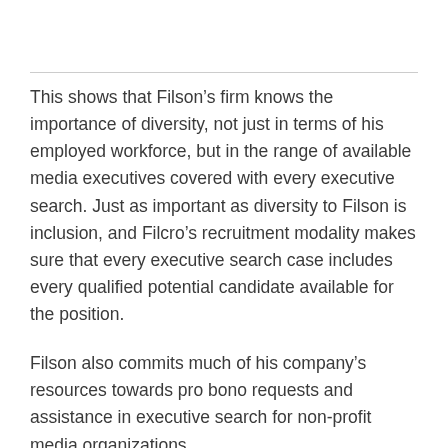This shows that Filson’s firm knows the importance of diversity, not just in terms of his employed workforce, but in the range of available media executives covered with every executive search. Just as important as diversity to Filson is inclusion, and Filcro’s recruitment modality makes sure that every executive search case includes every qualified potential candidate available for the position.
Filson also commits much of his company’s resources towards pro bono requests and assistance in executive search for non-profit media organizations